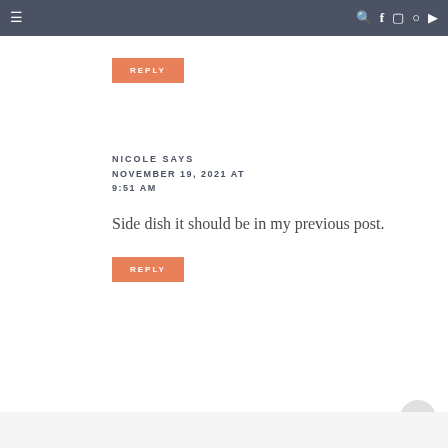≡  🔍 f 📷 p ▶
REPLY
NICOLE SAYS
NOVEMBER 19, 2021 AT 9:51 AM
Side dish it should be in my previous post.
REPLY